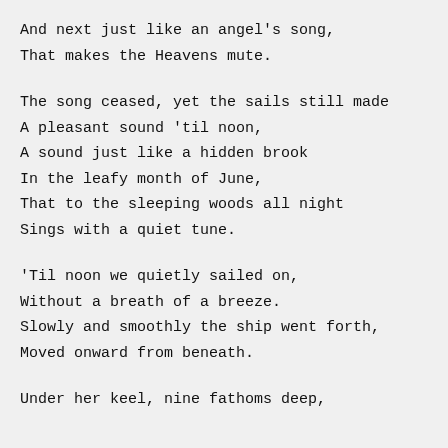And next just like an angel's song,
That makes the Heavens mute.
The song ceased, yet the sails still made
A pleasant sound 'til noon,
A sound just like a hidden brook
In the leafy month of June,
That to the sleeping woods all night
Sings with a quiet tune.
'Til noon we quietly sailed on,
Without a breath of a breeze.
Slowly and smoothly the ship went forth,
Moved onward from beneath.
Under her keel, nine fathoms deep,